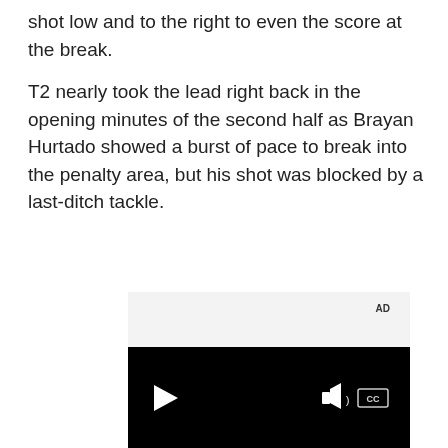shot low and to the right to even the score at the break.
T2 nearly took the lead right back in the opening minutes of the second half as Brayan Hurtado showed a burst of pace to break into the penalty area, but his shot was blocked by a last-ditch tackle.
[Figure (screenshot): Embedded video player with AD label in gray header area, black video frame with play button, volume icon, and CC (closed captions) button]